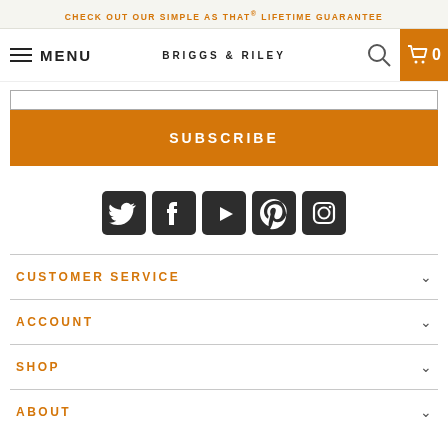CHECK OUT OUR SIMPLE AS THAT® LIFETIME GUARANTEE
[Figure (screenshot): Navigation bar with hamburger menu, MENU text, BRIGGS & RILEY brand logo, search icon, and orange cart button showing 0]
SUBSCRIBE
[Figure (infographic): Row of social media icons: Twitter, Facebook, YouTube, Pinterest, Instagram — dark rounded square style]
CUSTOMER SERVICE
ACCOUNT
SHOP
ABOUT